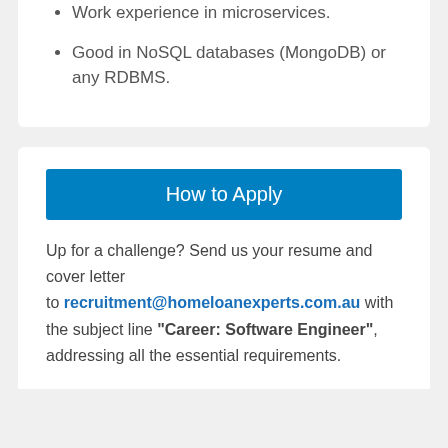Work experience in microservices.
Good in NoSQL databases (MongoDB) or any RDBMS.
How to Apply
Up for a challenge? Send us your resume and cover letter to recruitment@homeloanexperts.com.au with the subject line “Career: Software Engineer”, addressing all the essential requirements.